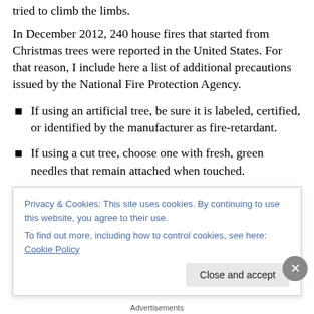tried to climb the limbs.
In December 2012, 240 house fires that started from Christmas trees were reported in the United States. For that reason, I include here a list of additional precautions issued by the National Fire Protection Agency.
If using an artificial tree, be sure it is labeled, certified, or identified by the manufacturer as fire-retardant.
If using a cut tree, choose one with fresh, green needles that remain attached when touched.
Cut one or two inches from the base of the trunk before
Privacy & Cookies: This site uses cookies. By continuing to use this website, you agree to their use.
To find out more, including how to control cookies, see here: Cookie Policy
Close and accept
Advertisements